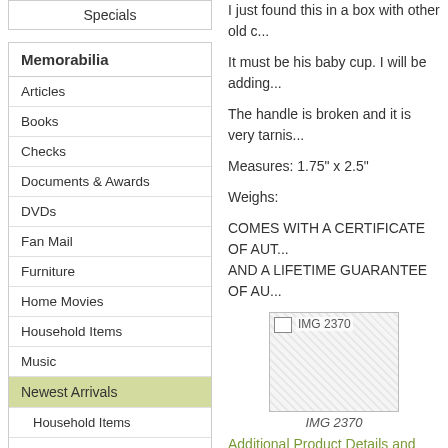Specials
Memorabilia
Articles
Books
Checks
Documents & Awards
DVDs
Fan Mail
Furniture
Home Movies
Household Items
Music
Newest Arrivals
Household Items
Object d'Art
Personal Items
Object d'Art
Paintings
I just found this in a box with other old c...
It must be his baby cup. I will be adding...
The handle is broken and it is very tarnis...
Measures: 1.75" x 2.5"
Weighs:
COMES WITH A CERTIFICATE OF AUT... AND A LIFETIME GUARANTEE OF AU...
[Figure (photo): IMG 2370 - placeholder image with dotted pattern]
IMG 2370
Additional Product Details and Reviews...
Rock Hudson in his bac...